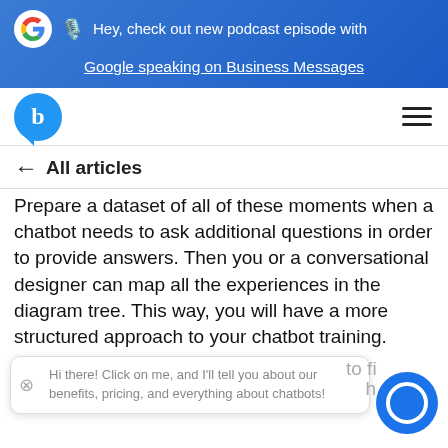[Figure (screenshot): Blue banner with Google logo, microphone icon, and text: Hey, check out new podcast episode with Google speaking on Business Messages (underlined link)]
[Figure (logo): Navigation bar with blue chat bubble logo showing letter b, and hamburger menu icon]
← All articles
Prepare a dataset of all of these moments when a chatbot needs to ask additional questions in order to provide answers. Then you or a conversational designer can map all the experiences in the diagram tree. This way, you will have a more structured approach to your chatbot training.
Hi there! Click on me, and I'll tell you about our benefits, pricing, and everything about chatbots!